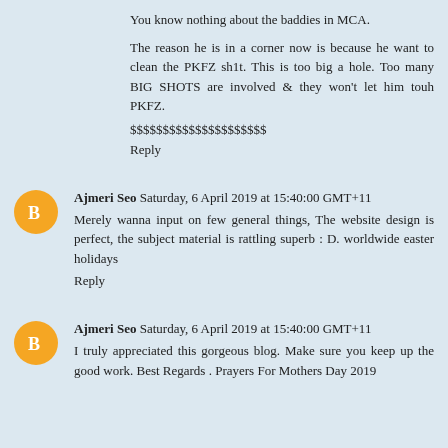You know nothing about the baddies in MCA.
The reason he is in a corner now is because he want to clean the PKFZ sh1t. This is too big a hole. Too many BIG SHOTS are involved & they won't let him touh PKFZ.
$$$$$$$$$$$$$$$$$$$$$
Reply
Ajmeri Seo  Saturday, 6 April 2019 at 15:40:00 GMT+11
Merely wanna input on few general things, The website design is perfect, the subject material is rattling superb : D. worldwide easter holidays
Reply
Ajmeri Seo  Saturday, 6 April 2019 at 15:40:00 GMT+11
I truly appreciated this gorgeous blog. Make sure you keep up the good work. Best Regards . Prayers For Mothers Day 2019